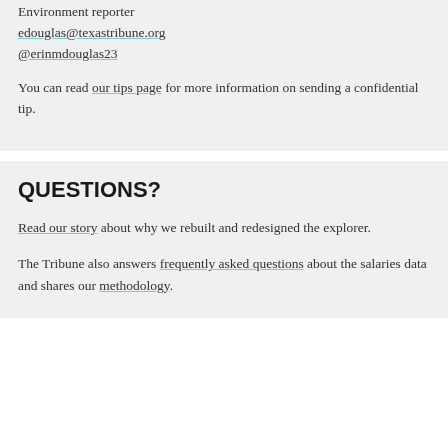Environment reporter
edouglas@texastribune.org
@erinmdouglas23
You can read our tips page for more information on sending a confidential tip.
QUESTIONS?
Read our story about why we rebuilt and redesigned the explorer.
The Tribune also answers frequently asked questions about the salaries data and shares our methodology.